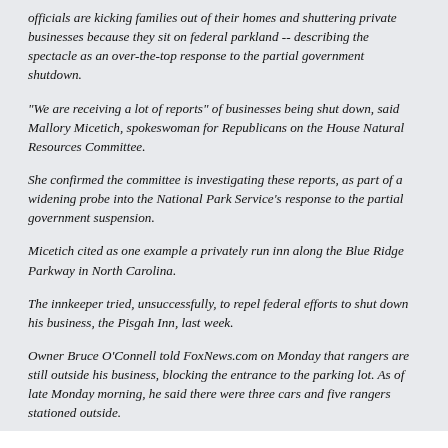officials are kicking families out of their homes and shuttering private businesses because they sit on federal parkland -- describing the spectacle as an over-the-top response to the partial government shutdown.
"We are receiving a lot of reports" of businesses being shut down, said Mallory Micetich, spokeswoman for Republicans on the House Natural Resources Committee.
She confirmed the committee is investigating these reports, as part of a widening probe into the National Park Service's response to the partial government suspension.
Micetich cited as one example a privately run inn along the Blue Ridge Parkway in North Carolina.
The innkeeper tried, unsuccessfully, to repel federal efforts to shut down his business, the Pisgah Inn, last week.
Owner Bruce O'Connell told FoxNews.com on Monday that rangers are still outside his business, blocking the entrance to the parking lot. As of late Monday morning, he said there were three cars and five rangers stationed outside.
This is just astounding. Apparently, Obama is so incredibly narcissistic and tone-deaf that he actually thinks that the American people don't know that he is personally doing this as his own little petulant vendetta against the country for not liking his "signature 'achievement.'" I knew